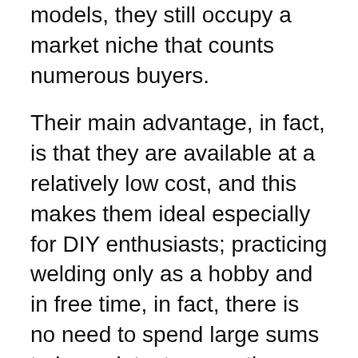models, they still occupy a market niche that counts numerous buyers.
Their main advantage, in fact, is that they are available at a relatively low cost, and this makes them ideal especially for DIY enthusiasts; practicing welding only as a hobby and in free time, in fact, there is no need to spend large sums to buy a latest generation variable darkening mask.
The same goes for welder's goggles; this personal protective device, in fact, represents a variant of the full face mask that has been developed for those who perform spot welding; In fact, firing a momentary arc to join two pieces of metal in some points does not require the need for